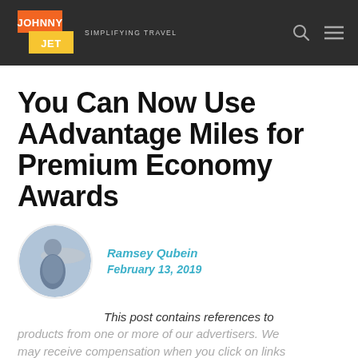JOHNNY JET — SIMPLIFYING TRAVEL
You Can Now Use AAdvantage Miles for Premium Economy Awards
[Figure (photo): Circular author photo of Ramsey Qubein standing in front of an airplane]
Ramsey Qubein
February 13, 2019
This post contains references to products from one or more of our advertisers. We may receive compensation when you click on links